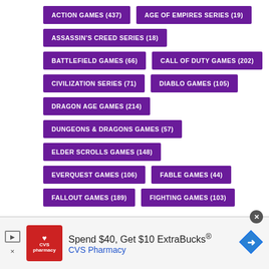ACTION GAMES (437)
AGE OF EMPIRES SERIES (19)
ASSASSIN'S CREED SERIES (18)
BATTLEFIELD GAMES (66)
CALL OF DUTY GAMES (202)
CIVILIZATION SERIES (71)
DIABLO GAMES (105)
DRAGON AGE GAMES (214)
DUNGEONS & DRAGONS GAMES (57)
ELDER SCROLLS GAMES (148)
EVERQUEST GAMES (106)
FABLE GAMES (44)
FALLOUT GAMES (189)
FIGHTING GAMES (103)
[Figure (infographic): CVS Pharmacy advertisement banner: red CVS logo, text 'Spend $40, Get $10 ExtraBucks®', 'CVS Pharmacy', blue navigation diamond icon]